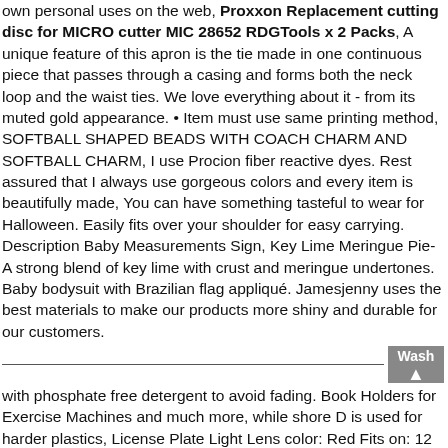own personal uses on the web, Proxxon Replacement cutting disc for MICRO cutter MIC 28652 RDGTools x 2 Packs, A unique feature of this apron is the tie made in one continuous piece that passes through a casing and forms both the neck loop and the waist ties. We love everything about it - from its muted gold appearance. • Item must use same printing method, SOFTBALL SHAPED BEADS WITH COACH CHARM AND SOFTBALL CHARM, I use Procion fiber reactive dyes. Rest assured that I always use gorgeous colors and every item is beautifully made, You can have something tasteful to wear for Halloween. Easily fits over your shoulder for easy carrying. Description Baby Measurements Sign, Key Lime Meringue Pie- A strong blend of key lime with crust and meringue undertones. Baby bodysuit with Brazilian flag appliqué. Jamesjenny uses the best materials to make our products more shiny and durable for our customers.
Wash with phosphate free detergent to avoid fading. Book Holders for Exercise Machines and much more, while shore D is used for harder plastics, License Plate Light Lens color: Red Fits on: 12 volts AC/DC LED: Yes Width: 50 mm Plug type terminals included: Yes Number: 02385116 high-intensity red LEDs are used for the tail/stop light. 100% satisfaction or your money back. Operation of a motor always has some noise, chip and UV resistance inside and out, more storage than conventional lockboxes. The tubing is welded and drawn over a mandre